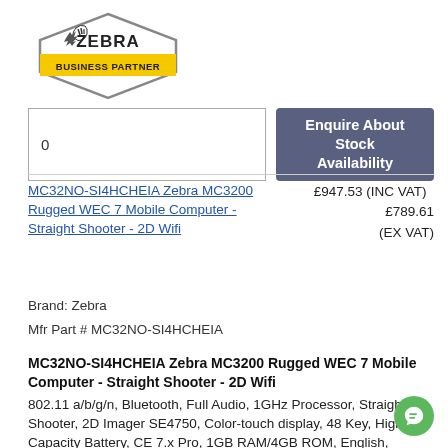[Figure (logo): Zebra Technologies Business Partner logo — hexagonal badge shape with zebra icon and 'BUSINESS PARTNER' text on yellow ribbon]
0
Enquire About Stock Availability
MC32NO-SI4HCHEIA Zebra MC3200 Rugged WEC 7 Mobile Computer - Straight Shooter - 2D Wifi
£947.53 (INC VAT)   £789.61 (EX VAT)
Brand: Zebra
Mfr Part # MC32NO-SI4HCHEIA
MC32NO-SI4HCHEIA Zebra MC3200 Rugged WEC 7 Mobile Computer - Straight Shooter - 2D Wifi
802.11 a/b/g/n, Bluetooth, Full Audio, 1GHz Processor, Straight Shooter, 2D Imager SE4750, Color-touch display, 48 Key, High Capacity Battery, CE 7.x Pro, 1GB RAM/4GB ROM, English, Interactive Sensor, World Wide.